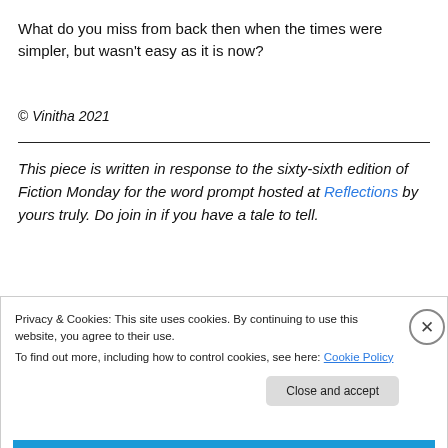What do you miss from back then when the times were simpler, but wasn't easy as it is now?
© Vinitha 2021
This piece is written in response to the sixty-sixth edition of Fiction Monday for the word prompt hosted at Reflections by yours truly. Do join in if you have a tale to tell.
Privacy & Cookies: This site uses cookies. By continuing to use this website, you agree to their use.
To find out more, including how to control cookies, see here: Cookie Policy